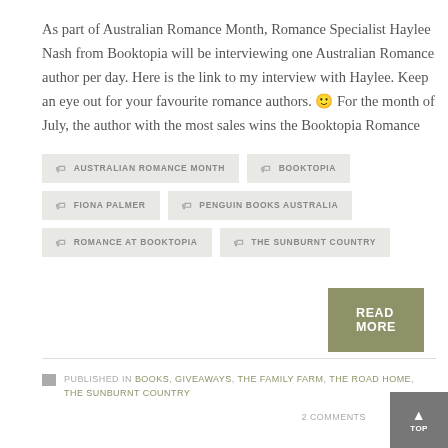As part of Australian Romance Month, Romance Specialist Haylee Nash from Booktopia will be interviewing one Australian Romance author per day. Here is the link to my interview with Haylee. Keep an eye out for your favourite romance authors. 🙂 For the month of July, the author with the most sales wins the Booktopia Romance
AUSTRALIAN ROMANCE MONTH
BOOKTOPIA
FIONA PALMER
PENGUIN BOOKS AUSTRALIA
ROMANCE AT BOOKTOPIA
THE SUNBURNT COUNTRY
READ MORE
PUBLISHED IN BOOKS, GIVEAWAYS, THE FAMILY FARM, THE ROAD HOME, THE SUNBURNT COUNTRY
2 COMMENTS